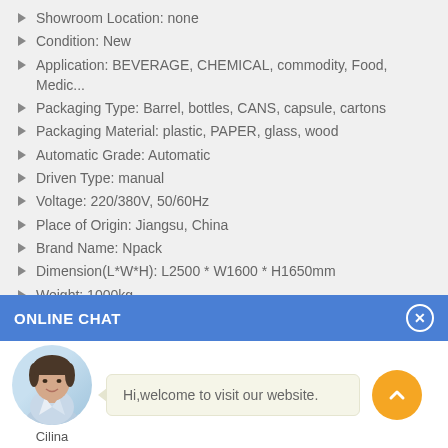Showroom Location: none
Condition: New
Application: BEVERAGE, CHEMICAL, commodity, Food, Medic...
Packaging Type: Barrel, bottles, CANS, capsule, cartons
Packaging Material: plastic, PAPER, glass, wood
Automatic Grade: Automatic
Driven Type: manual
Voltage: 220/380V, 50/60Hz
Place of Origin: Jiangsu, China
Brand Name: Npack
Dimension(L*W*H): L2500 * W1600 * H1650mm
Weight: 1000kg
ONLINE CHAT
Hi,welcome to visit our website.
Cilina